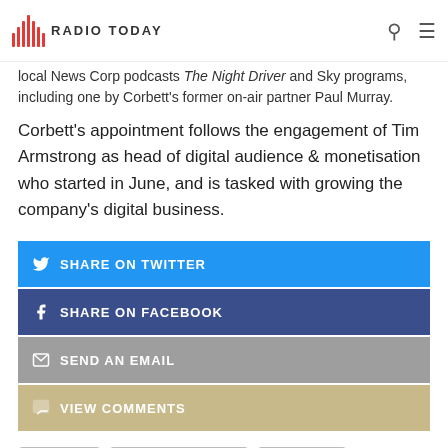Radio Today
local News Corp podcasts The Night Driver and Sky programs, including one by Corbett's former on-air partner Paul Murray.
Corbett's appointment follows the engagement of Tim Armstrong as head of digital audience & monetisation who started in June, and is tasked with growing the company's digital business.
SHARE ON TWITTER
SHARE ON FACEBOOK
SEND AN EMAIL
VIEW COMMENTS
Mamamia
NOVA Entertainment
Podcasting